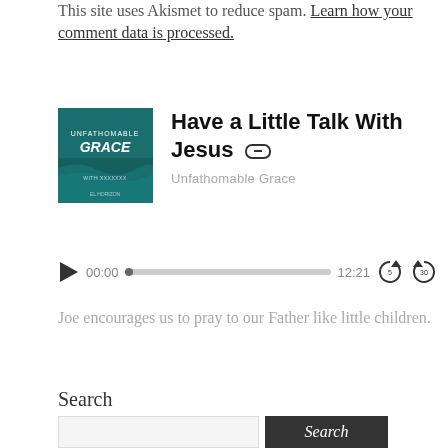This site uses Akismet to reduce spam. Learn how your comment data is processed.
[Figure (illustration): Podcast album art for Unfathomable Grace with white text on dark teal/green background with wave design]
Have a Little Talk With Jesus
Unfathomable Grace
[Figure (other): Audio player with play button, time 00:00, progress bar, end time 12:21, rewind 5s and forward 30s controls]
Joe encourages us to pray to our Father like little children.
Search
Search